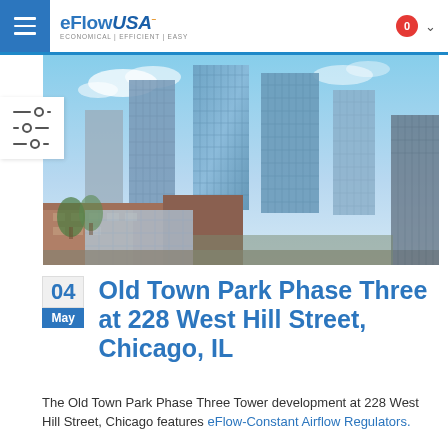eFlowUSA — ECONOMICAL | EFFICIENT | EASY — navigation bar with hamburger menu and cart icon showing 0
[Figure (photo): Aerial/elevated view of the Old Town Park Phase Three tower development at 228 West Hill Street, Chicago — multiple tall glass skyscrapers under blue sky with clouds, mixed with older brick buildings in the foreground.]
04 May Old Town Park Phase Three at 228 West Hill Street, Chicago, IL
The Old Town Park Phase Three Tower development at 228 West Hill Street, Chicago features eFlow-Constant Airflow Regulators.